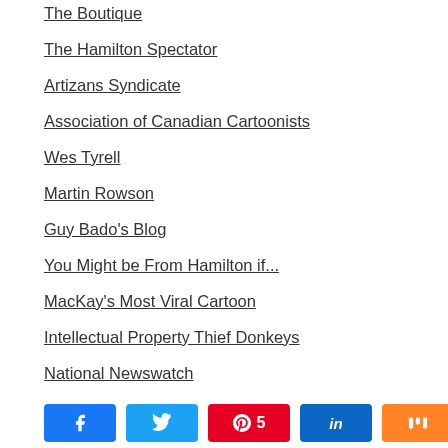The Boutique
The Hamilton Spectator
Artizans Syndicate
Association of Canadian Cartoonists
Wes Tyrell
Martin Rowson
Guy Bado's Blog
You Might be From Hamilton if...
MacKay's Most Viral Cartoon
Intellectual Property Thief Donkeys
National Newswatch
[Figure (infographic): Social share bar with Facebook, Twitter, Pinterest (5), LinkedIn, Mix buttons and a total of 5 SHARES]